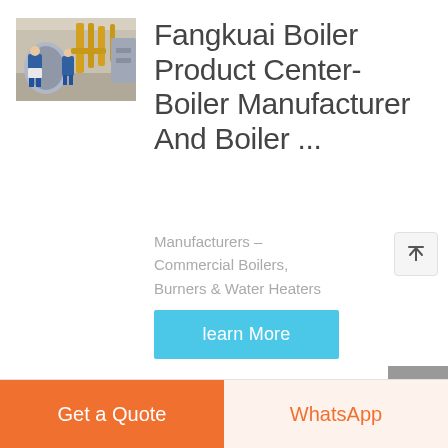[Figure (photo): Industrial boiler facility with workers in blue uniforms and yellow pipes]
Fangkuai Boiler Product Center-Boiler Manufacturer And Boiler ...
Manufacturers – Commercial Boilers, Burners & Water Heaters
learn More
Get a Quote
WhatsApp